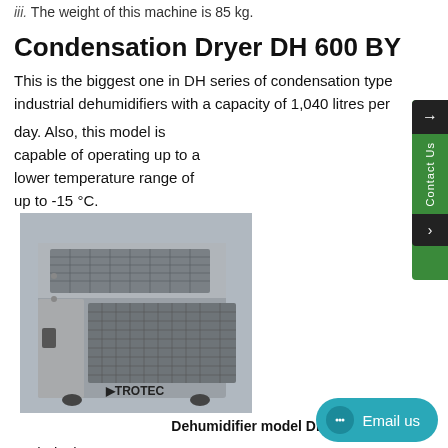iii. The weight of this machine is 85 kg.
Condensation Dryer DH 600 BY
This is the biggest one in DH series of condensation type industrial dehumidifiers with a capacity of 1,040 litres per day. Also, this model is capable of operating up to a lower temperature range of up to -15 °C.
[Figure (photo): Photo of TROTEC Dehumidifier model DH 600 BY, a large industrial grey dehumidifier unit with ventilation grilles on the front and sides.]
Dehumidifier model DH 600 BY
Technical details
i. Max. air volume capacity is 9,000 m³ per hour.
ii. Operating temperature range is from -15 to 40 °C.